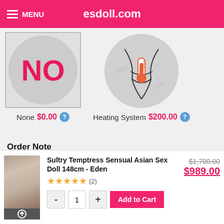esdoll.com
[Figure (illustration): Circle with NO text in pink, representing None option]
None $0.00
[Figure (illustration): Circle with thermometer icon representing Heating System option]
Heating System $200.00
Order Note
Please let us know your special requirements here.
[Figure (illustration): Product thumbnail image of Sultry Temptress Sensual Asian Sex Doll 148cm - Eden]
Sultry Temptress Sensual Asian Sex Doll 148cm - Eden
★★★★★ (2)
$1,700.00 $989.00